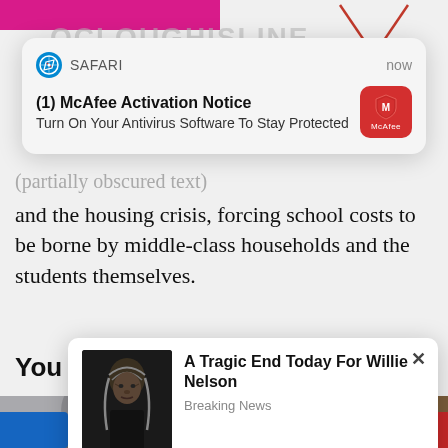[Figure (screenshot): Safari browser notification popup: (1) McAfee Activation Notice - Turn On Your Antivirus Software To Stay Protected, with McAfee red icon on right and 'now' timestamp]
and the housing crisis, forcing school costs to be borne by middle-class households and the students themselves.
You Might Like
[Figure (screenshot): Popup ad notification: A Tragic End Today For Willie Nelson - Breaking News, with photo of elderly man on left and X close button]
[Figure (photo): Two thumbnail images side by side: left shows a sculpture/figure, right shows a coin close-up]
[Figure (screenshot): Blue button bottom left and red button bottom right, part of page UI]